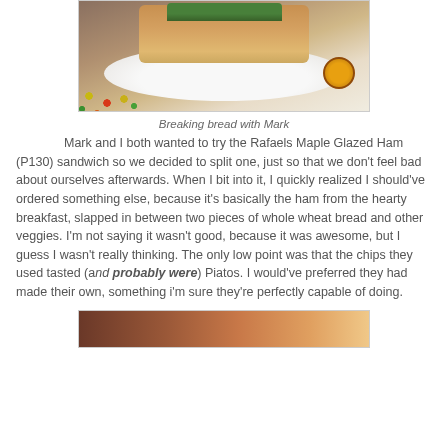[Figure (photo): Photo of a sandwich with chips on a white plate, with colorful M&M-like candies visible in the background and a logo watermark in the bottom right corner]
Breaking bread with Mark
Mark and I both wanted to try the Rafaels Maple Glazed Ham (P130) sandwich so we decided to split one, just so that we don't feel bad about ourselves afterwards. When I bit into it, I quickly realized I should've ordered something else, because it's basically the ham from the hearty breakfast, slapped in between two pieces of whole wheat bread and other veggies. I'm not saying it wasn't good, because it was awesome, but I guess I wasn't really thinking. The only low point was that the chips they used tasted (and probably were) Piatos. I would've preferred they had made their own, something i'm sure they're perfectly capable of doing.
[Figure (photo): Another food photo, partially visible at the bottom of the page]